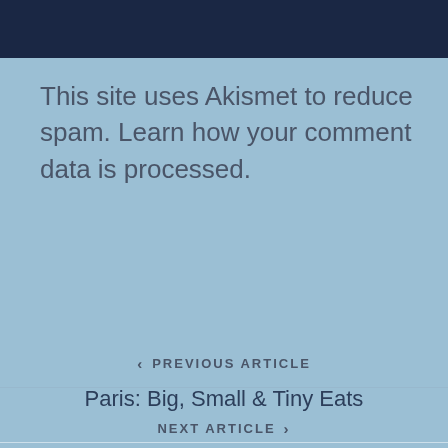[Figure (other): Dark navy blue banner/header bar at top of page]
This site uses Akismet to reduce spam. Learn how your comment data is processed.
‹ PREVIOUS ARTICLE
Paris: Big, Small & Tiny Eats
NEXT ARTICLE ›
Festive Feasting